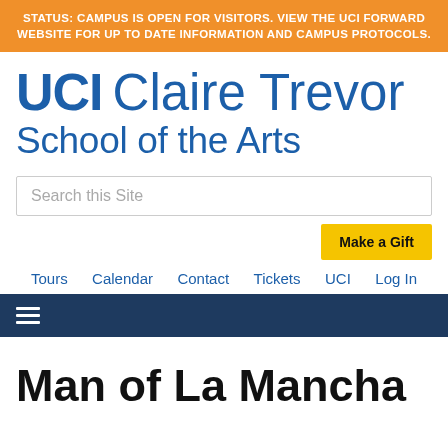STATUS: CAMPUS IS OPEN FOR VISITORS. VIEW THE UCI FORWARD WEBSITE FOR UP TO DATE INFORMATION AND CAMPUS PROTOCOLS.
[Figure (logo): UCI Claire Trevor School of the Arts logo in blue text]
Search this Site
Make a Gift
Tours   Calendar   Contact   Tickets   UCI   Log In
Man of La Mancha